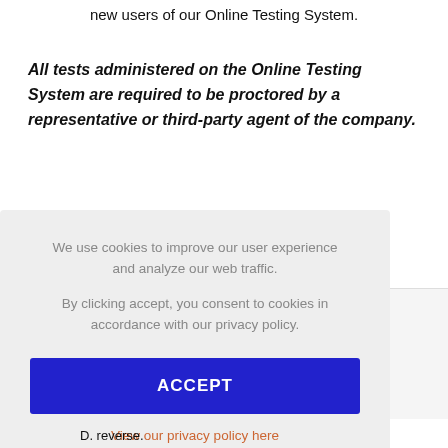new users of our Online Testing System.
All tests administered on the Online Testing System are required to be proctored by a representative or third-party agent of the company.
[Figure (screenshot): Cookie consent overlay with gray background. Text reads: 'We use cookies to improve our user experience and analyze our web traffic. By clicking accept, you consent to cookies in accordance with our privacy policy.' A blue ACCEPT button and an orange 'View our privacy policy here' link are shown.]
D. reverse.